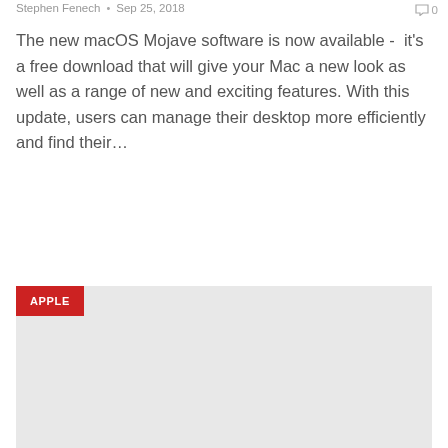Stephen Fenech • Sep 25, 2018
The new macOS Mojave software is now available -  it's a free download that will give your Mac a new look as well as a range of new and exciting features. With this update, users can manage their desktop more efficiently and find their…
READ MORE...
[Figure (other): Large grey placeholder image area with a red 'APPLE' category badge in the top-left corner]